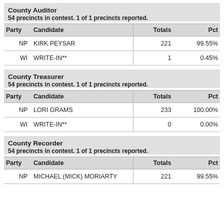County Auditor
54 precincts in contest. 1 of 1 precincts reported.
| Party | Candidate | Totals | Pct |
| --- | --- | --- | --- |
| NP | KIRK PEYSAR | 221 | 99.55% |
| WI | WRITE-IN** | 1 | 0.45% |
County Treasurer
54 precincts in contest. 1 of 1 precincts reported.
| Party | Candidate | Totals | Pct |
| --- | --- | --- | --- |
| NP | LORI GRAMS | 233 | 100.00% |
| WI | WRITE-IN** | 0 | 0.00% |
County Recorder
54 precincts in contest. 1 of 1 precincts reported.
| Party | Candidate | Totals | Pct |
| --- | --- | --- | --- |
| NP | MICHAEL (MICK) MORIARTY | 221 | 99.55% |